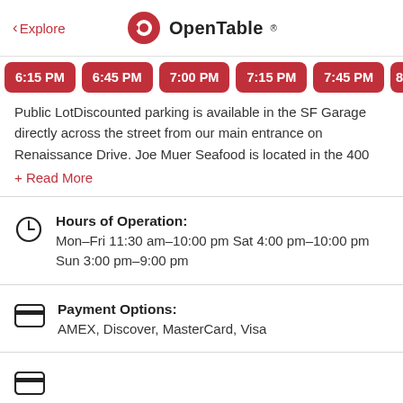< Explore  •OpenTable•
6:15 PM  6:45 PM  7:00 PM  7:15 PM  7:45 PM  8:
Public LotDiscounted parking is available in the SF Garage directly across the street from our main entrance on Renaissance Drive. Joe Muer Seafood is located in the 400
+ Read More
Hours of Operation: Mon–Fri 11:30 am–10:00 pm Sat 4:00 pm–10:00 pm Sun 3:00 pm–9:00 pm
Payment Options: AMEX, Discover, MasterCard, Visa